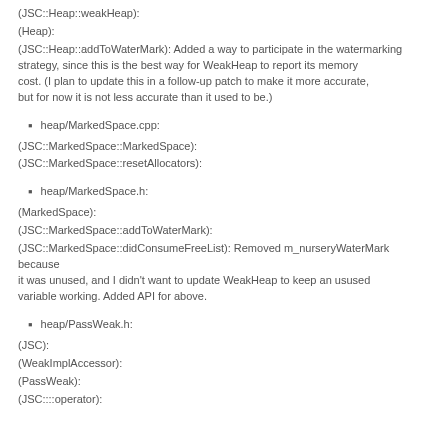(JSC::Heap::weakHeap):
(Heap):
(JSC::Heap::addToWaterMark): Added a way to participate in the watermarking strategy, since this is the best way for WeakHeap to report its memory cost. (I plan to update this in a follow-up patch to make it more accurate, but for now it is not less accurate than it used to be.)
heap/MarkedSpace.cpp:
(JSC::MarkedSpace::MarkedSpace):
(JSC::MarkedSpace::resetAllocators):
heap/MarkedSpace.h:
(MarkedSpace):
(JSC::MarkedSpace::addToWaterMark):
(JSC::MarkedSpace::didConsumeFreeList): Removed m_nurseryWaterMark because it was unused, and I didn't want to update WeakHeap to keep an usused variable working. Added API for above.
heap/PassWeak.h:
(JSC):
(WeakImplAccessor):
(PassWeak):
(JSC::::operator):